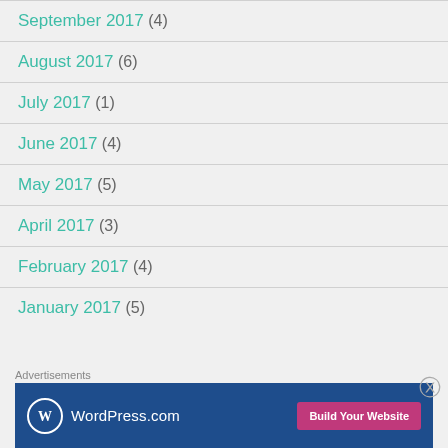September 2017 (4)
August 2017 (6)
July 2017 (1)
June 2017 (4)
May 2017 (5)
April 2017 (3)
February 2017 (4)
January 2017 (5)
Advertisements
[Figure (other): WordPress.com advertisement banner with Build Your Website button]